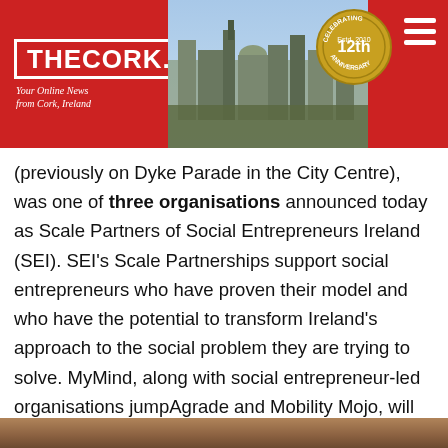[Figure (screenshot): TheCork.ie website header banner with red background, site logo, Cork city skyline photo, 12th anniversary badge, and hamburger menu icon. Tagline: Your Online News from Cork, Ireland.]
(previously on Dyke Parade in the City Centre), was one of three organisations announced today as Scale Partners of Social Entrepreneurs Ireland (SEI). SEI's Scale Partnerships support social entrepreneurs who have proven their model and who have the potential to transform Ireland's approach to the social problem they are trying to solve. MyMind, along with social entrepreneur-led organisations jumpAgrade and Mobility Mojo, will receive an equal share of €150,000 in direct funding to grow their services and impact. These three social entrepreneur-led organisations are tackling the social issues of mental health, inequality in education supports, and lack of access to suitable travel accommodation for people with mobility impairments.
[Figure (photo): Bottom portion of a person's photo, cropped — only the top of a head is visible at the very bottom of the page.]